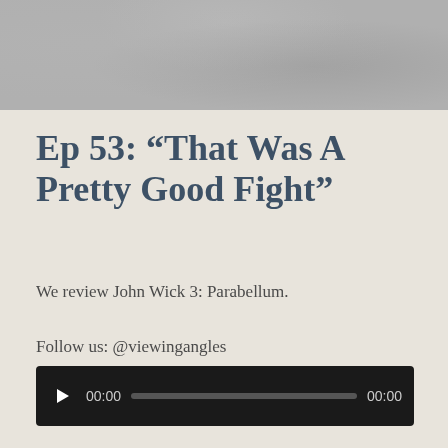[Figure (photo): Gray textured banner image at the top of the page]
Ep 53: “That Was A Pretty Good Fight”
We review John Wick 3: Parabellum.
Follow us: @viewingangles
Music by Vexento
[Figure (other): Audio player widget showing play button, current time 00:00, progress bar, and total time 00:00 on a dark background]